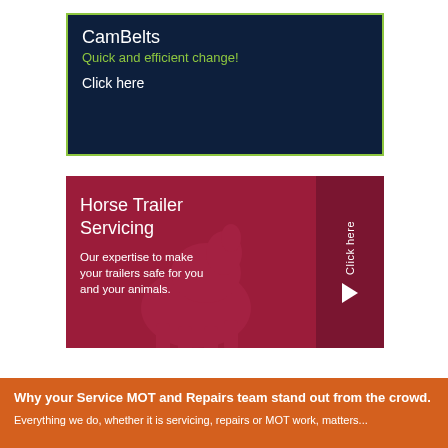[Figure (infographic): CamBelts promotional banner on dark navy background with yellow-green border. Text: CamBelts, Quick and efficient change!, Click here.]
[Figure (infographic): Horse Trailer Servicing promotional banner on dark red background with horse silhouette watermark. Text: Horse Trailer Servicing, Our expertise to make your trailers safe for you and your animals. Right sidebar with 'Click here' text and arrow.]
Why your Service MOT and Repairs team stand out from the crowd.
Everything we do, whether it is servicing, repairs or MOT work, matters...